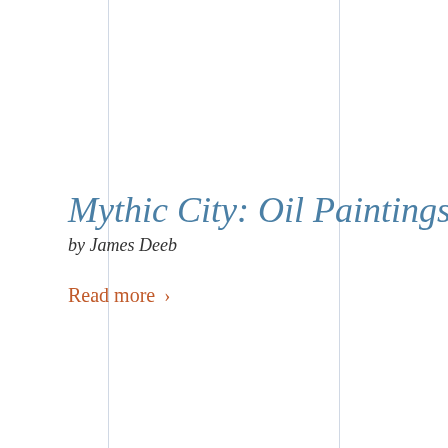Mythic City: Oil Paintings
by James Deeb
Read more ›